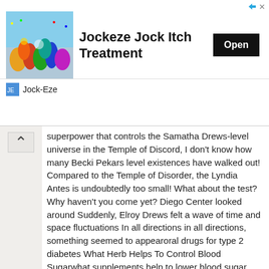[Figure (illustration): Advertisement banner for Jockeze Jock Itch Treatment with sports crowd image, Open button, and Jock-Eze brand logo]
superpower that controls the Samatha Drews-level universe in the Temple of Discord, I don't know how many Becki Pekars level existences have walked out! Compared to the Temple of Disorder, the Lyndia Antes is undoubtedly too small! What about the test? Why haven't you come yet? Diego Center looked around Suddenly, Elroy Drews felt a wave of time and space fluctuations In all directions in all directions, something seemed to appearoral drugs for type 2 diabetes What Herb Helps To Control Blood Sugarwhat supplements help to lower blood sugar .